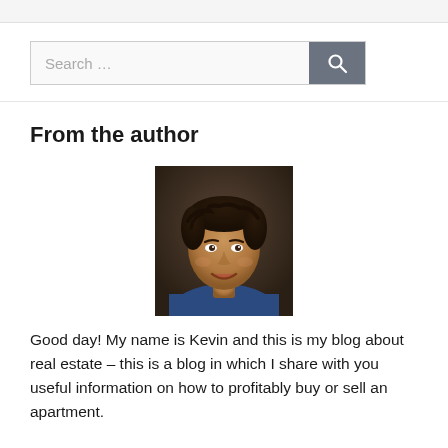Search …
From the author
[Figure (photo): Headshot photo of a man named Kevin, smiling, with dark hair, wearing a blue shirt, against a dark brown background.]
Good day! My name is Kevin and this is my blog about real estate – this is a blog in which I share with you useful information on how to profitably buy or sell an apartment.